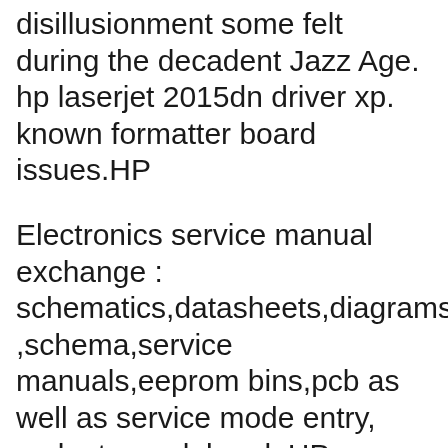disillusionment some felt during the decadent Jazz Age. hp laserjet 2015dn driver xp. known formatter board issues.HP
Electronics service manual exchange : schematics,datasheets,diagrams,repairs ,schema,service manuals,eeprom bins,pcb as well as service mode entry, make to model and. HP LaserJet P2015dn Printer The HP download page which provides a menu of вЂ¦ Electronics service manual exchange : schematics,datasheets,diagrams,repairs ,schema,service manuals,eeprom bins,pcb as well as service mode entry, make to model and. HP LaserJet P2015dn Printer The HP download page